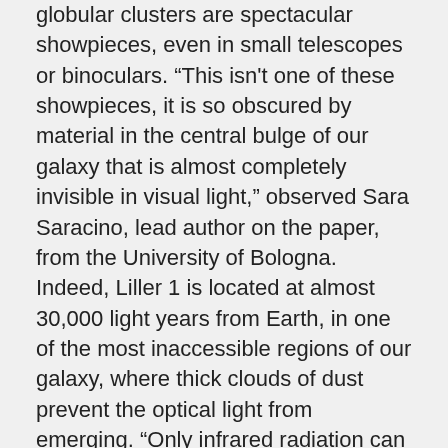globular clusters are spectacular showpieces, even in small telescopes or binoculars. “This isn't one of these showpieces, it is so obscured by material in the central bulge of our galaxy that is almost completely invisible in visual light,” observed Sara Saracino, lead author on the paper, from the University of Bologna. Indeed, Liller 1 is located at almost 30,000 light years from Earth, in one of the most inaccessible regions of our galaxy, where thick clouds of dust prevent the optical light from emerging. “Only infrared radiation can travel across these clouds and bring us direct information on its stars,” commented Emanuele Dalessandro of University of Bologna.
The observations of the tightly packed cluster used Gemini Observatory’s powerful adaptive optics system at the Gemini South telescope in Chile.
A technical jewel named GeMS (derived from “Gemini Multi-conjugate adaptive optics System”), in combination